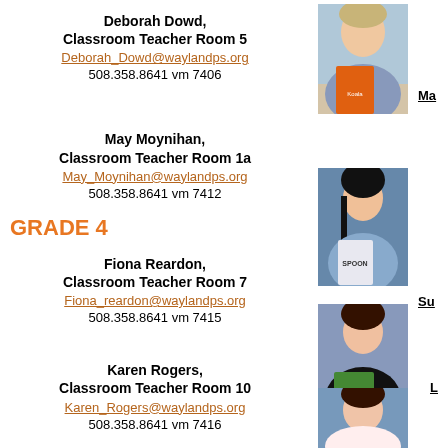Deborah Dowd, Classroom Teacher Room 5
Deborah_Dowd@waylandps.org
508.358.8641 vm 7406
[Figure (photo): Photo of Deborah Dowd holding a book with a koala on the cover]
Ma (partially visible right column label)
May Moynihan, Classroom Teacher Room 1a
May_Moynihan@waylandps.org
508.358.8641 vm 7412
[Figure (photo): Photo of May Moynihan holding a book titled SPOON]
Su (partially visible right column label)
GRADE 4
Fiona Reardon, Classroom Teacher Room 7
Fiona_reardon@waylandps.org
508.358.8641 vm 7415
[Figure (photo): Photo of Fiona Reardon holding a book]
L (partially visible right column label)
Karen Rogers, Classroom Teacher Room 10
Karen_Rogers@waylandps.org
508.358.8641 vm 7416
[Figure (photo): Photo of Karen Rogers]